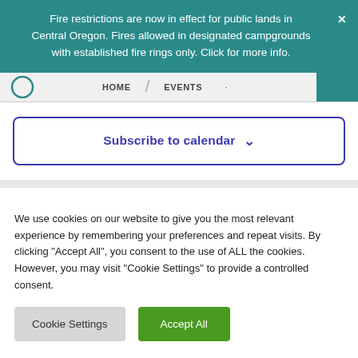Fire restrictions are now in effect for public lands in Central Oregon. Fires allowed in designated campgrounds with established fire rings only. Click for more info.
HOME / EVENTS
Subscribe to calendar
We use cookies on our website to give you the most relevant experience by remembering your preferences and repeat visits. By clicking "Accept All", you consent to the use of ALL the cookies. However, you may visit "Cookie Settings" to provide a controlled consent.
Cookie Settings | Accept All